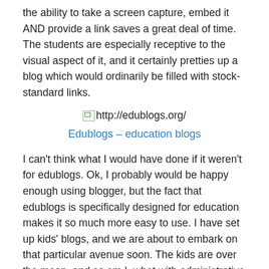the ability to take a screen capture, embed it AND provide a link saves a great deal of time. The students are especially receptive to the visual aspect of it, and it certainly pretties up a blog which would ordinarily be filled with stock-standard links.
[Figure (screenshot): Broken image icon followed by URL text: http://edublogs.org/]
Edublogs – education blogs
I can't think what I would have done if it weren't for edublogs. Ok, I probably would be happy enough using blogger, but the fact that edublogs is specifically designed for education makes it so much more easy to use. I have set up kids' blogs, and we are about to embark on that particular avenue soon. The kids are over the moon, and so am I, what with administrative rights and comment moderation!